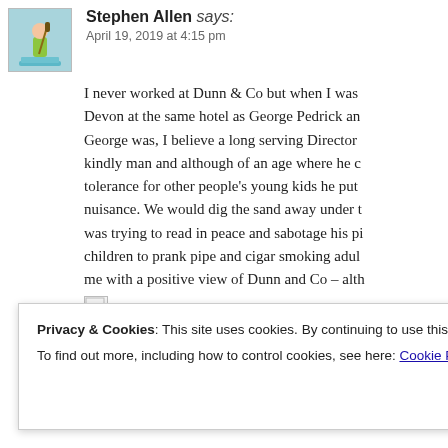Stephen Allen says: April 19, 2019 at 4:15 pm
I never worked at Dunn & Co but when I was Devon at the same hotel as George Pedrick and George was, I believe a long serving Director kindly man and although of an age where he c tolerance for other people's young kids he put nuisance. We would dig the sand away under t was trying to read in peace and sabotage his pi children to prank pipe and cigar smoking adul me with a positive view of Dunn and Co – alth
Privacy & Cookies: This site uses cookies. By continuing to use this website, you agree to their use.
To find out more, including how to control cookies, see here: Cookie Policy
Close and accept